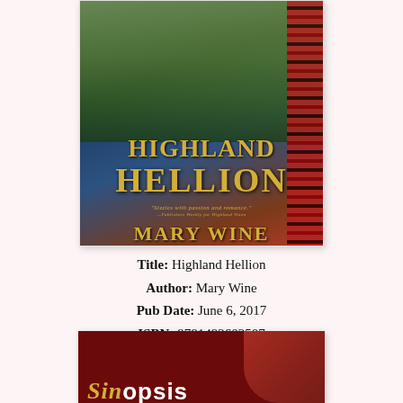[Figure (illustration): Book cover of 'Highland Hellion' by Mary Wine. Shows a woman in a blue dress against a Scottish Highland backdrop with tartan pattern on the right side. Title 'Highland Hellion' in gold letters, quote 'Sizzles with passion and romance.' from Publishers Weekly for Highland Vixen, author name 'Mary Wine' in gold at bottom.]
Title: Highland Hellion
Author: Mary Wine
Pub Date: June 6, 2017
ISBN: 9781492602507
[Figure (illustration): Partial book cover or promotional image showing 'Sinopsis' text in gold italic and white letters against a dark red background, with a woman's lips and a red rose visible on the right side.]